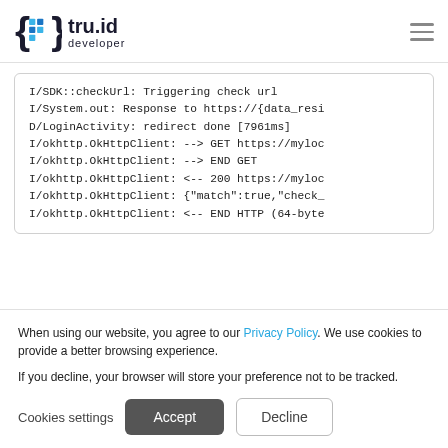tru.id developer
[Figure (screenshot): Code/log output block showing Android debug log lines: I/SDK::checkUrl: Triggering check url, I/System.out: Response to https://{data_resi..., D/LoginActivity: redirect done [7961ms], I/okhttp.OkHttpClient: --> GET https://myloc..., I/okhttp.OkHttpClient: --> END GET, I/okhttp.OkHttpClient: <-- 200 https://myloc..., I/okhttp.OkHttpClient: {"match":true,"check_..., I/okhttp.OkHttpClient: <-- END HTTP (64-byte...]
When using our website, you agree to our Privacy Policy. We use cookies to provide a better browsing experience.
If you decline, your browser will store your preference not to be tracked.
Cookies settings  Accept  Decline